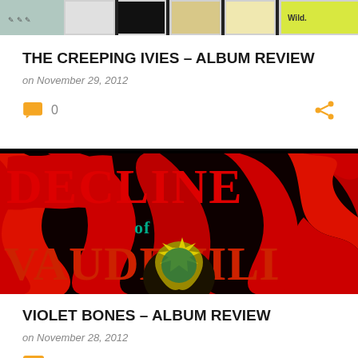[Figure (photo): Strip of album/comic artwork thumbnails at top of card]
THE CREEPING IVIES – ALBUM REVIEW
on November 29, 2012
[Figure (photo): Orange comment bubble icon with count 0 and orange share icon]
[Figure (photo): Decline of Vaudeville album art – psychedelic red and black lettering with green and yellow figure]
VIOLET BONES – ALBUM REVIEW
on November 28, 2012
[Figure (photo): Orange comment bubble icon (partial, cut off at bottom)]